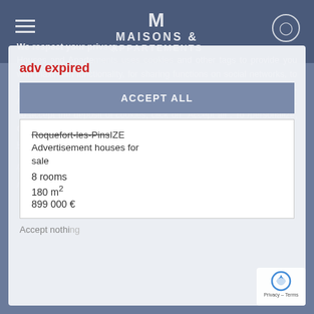Maisons & Appartements
We respect your privacy
Houses and Apartments uses cookies and other tags to provide you with maximum functionality, for sharing functions on social networks, to analyze the website audience and to offer you personalized advertising. /Some information is sent to third-party service providers for information. To accept the deposit of cookies, click on "Accept all". To /personalize, click on "Personalize".
Home / Advertisements / Provence-Alpes-Côte-d'Azur
/Alpes Maritimes / Roquefort-les-Pins / Houses for sale
/ Advertisement
adv expired
ACCEPT ALL
Roquefort-les-Pins IZE
Advertisement houses for sale
8 rooms
180 m²
899 000 €
Accept nothing